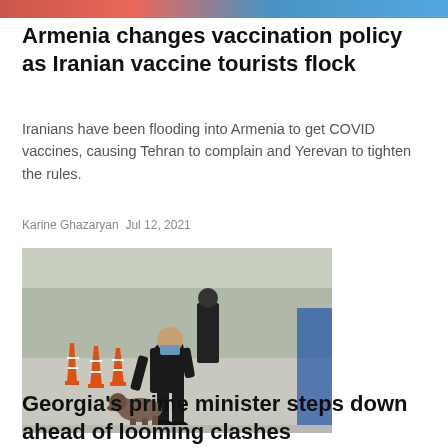[Figure (photo): Top of page cropped image strip showing part of a news article photo]
Armenia changes vaccination policy as Iranian vaccine tourists flock
Iranians have been flooding into Armenia to get COVID vaccines, causing Tehran to complain and Yerevan to tighten the rules.
Karine Ghazaryan Jul 12, 2021
[Figure (photo): A man in a dark suit and face mask bends down to pet a dog near orange traffic cones at what appears to be a border checkpoint or outdoor facility. Another person stands in the background.]
Georgia's prime minister steps down ahead of looming clashes